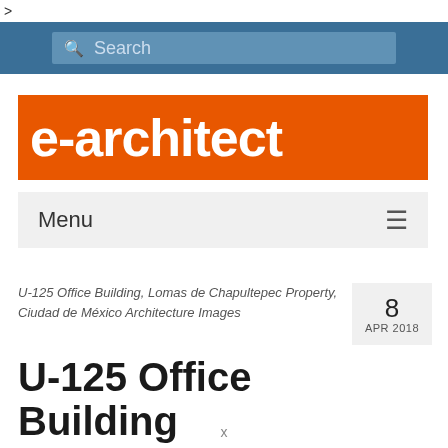>
Search
e-architect
Menu
U-125 Office Building, Lomas de Chapultepec Property, Ciudad de México Architecture Images
8
APR 2018
U-125 Office Building